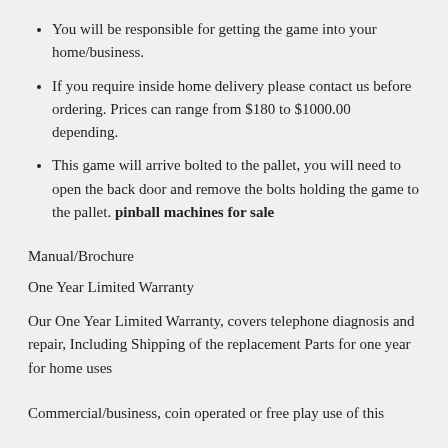You will be responsible for getting the game into your home/business.
If you require inside home delivery please contact us before ordering. Prices can range from $180 to $1000.00 depending.
This game will arrive bolted to the pallet, you will need to open the back door and remove the bolts holding the game to the pallet. pinball machines for sale
Manual/Brochure
One Year Limited Warranty
Our One Year Limited Warranty, covers telephone diagnosis and repair, Including Shipping of the replacement Parts for one year for home uses
Commercial/business, coin operated or free play use of this